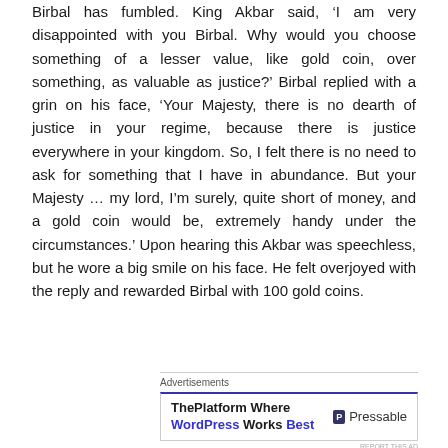Birbal has fumbled. King Akbar said, ‘I am very disappointed with you Birbal. Why would you choose something of a lesser value, like gold coin, over something, as valuable as justice?’ Birbal replied with a grin on his face, ‘Your Majesty, there is no dearth of justice in your regime, because there is justice everywhere in your kingdom. So, I felt there is no need to ask for something that I have in abundance. But your Majesty … my lord, I’m surely, quite short of money, and a gold coin would be, extremely handy under the circumstances.’ Upon hearing this Akbar was speechless, but he wore a big smile on his face. He felt overjoyed with the reply and rewarded Birbal with 100 gold coins.
Advertisements
[Figure (other): Advertisement banner for Pressable: 'ThePlatform Where WordPress Works Best' with Pressable logo on the right.]